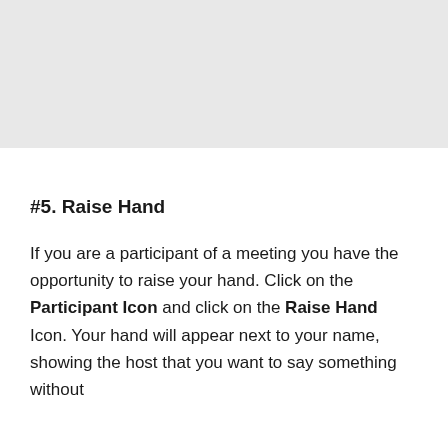[Figure (other): Gray placeholder image block at the top of the page]
#5. Raise Hand
If you are a participant of a meeting you have the opportunity to raise your hand. Click on the Participant Icon and click on the Raise Hand Icon. Your hand will appear next to your name, showing the host that you want to say something without